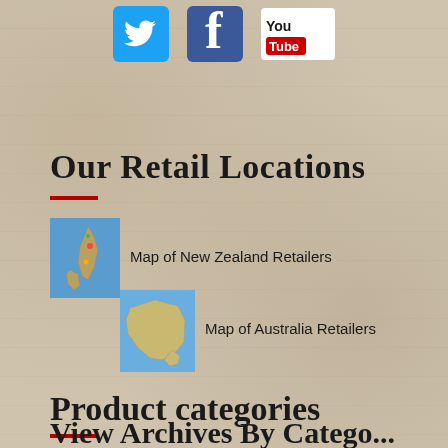[Figure (other): Social media icons row: Twitter (blue bird), Facebook (blue f), YouTube (white/red logo)]
Our  Retail  Locations
[Figure (map): Small thumbnail map of New Zealand with colored pins]
Map of New Zealand Retailers
[Figure (map): Small thumbnail map of Australia]
Map of Australia Retailers
Product categories
Select a category
View Archives By Catego...